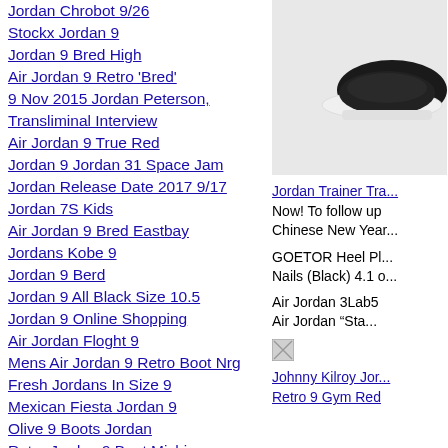Jordan Chrobot 9/26
Stockx Jordan 9
Jordan 9 Bred High
Air Jordan 9 Retro 'Bred'
9 Nov 2015 Jordan Peterson, Transliminal Interview
Air Jordan 9 True Red
Jordan 9 Jordan 31 Space Jam
Jordan Release Date 2017 9/17 Jordan 7S Kids
Air Jordan 9 Bred Eastbay
Jordans Kobe 9
Jordan 9 Berd
Jordan 9 All Black Size 10.5
Jordan 9 Online Shopping
Air Jordan Floght 9
Mens Air Jordan 9 Retro Boot Nrg
Fresh Jordans In Size 9
Mexican Fiesta Jordan 9
Olive 9 Boots Jordan
Retro Jordan 9 Boot Michigan
Air Jordan 9 Snake Militia Green
Mens Jordans Size 9
Jordan 31 Size 9
Womens Jordans Size 9
[Figure (photo): Shoe photo on white/grey background, close-up of black and white sneaker]
Jordan Trainer Tra... Now! To follow up Chinese New Year...
GOETOR Heel Pl... Nails (Black) 4.1 o...
Air Jordan 3Lab5
Air Jordan “Sta...
[Figure (photo): Broken/loading image icon]
Johnny Kilroy Jor...
Retro 9 Gym Red